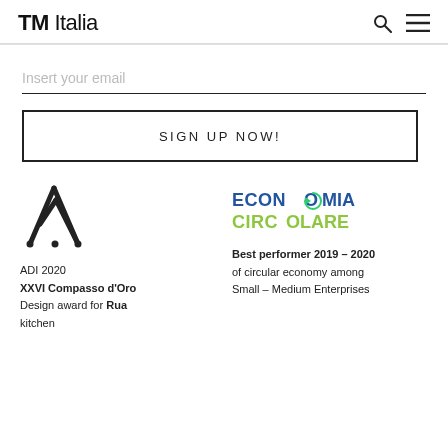TM Italia
Insert your email
SIGN UP NOW!
[Figure (logo): ADI Compasso d'Oro award logo — geometric A-frame/mountain outline in black]
ADI 2020
XXVI Compasso d'Oro
Design award for Rua kitchen
[Figure (logo): Economia Circolare logo with circular arrow around the 'O', text in blue and green]
Best performer 2019 – 2020 of circular economy among Small – Medium Enterprises